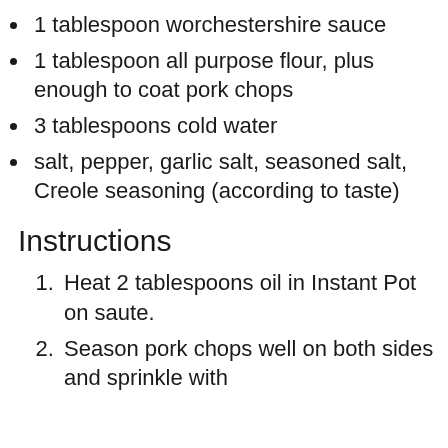1 tablespoon worchestershire sauce
1 tablespoon all purpose flour, plus enough to coat pork chops
3 tablespoons cold water
salt, pepper, garlic salt, seasoned salt, Creole seasoning (according to taste)
Instructions
Heat 2 tablespoons oil in Instant Pot on saute.
Season pork chops well on both sides and sprinkle with